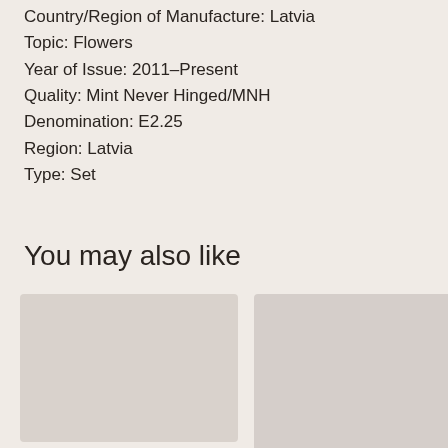Country/Region of Manufacture: Latvia
Topic: Flowers
Year of Issue: 2011–Present
Quality: Mint Never Hinged/MNH
Denomination: E2.25
Region: Latvia
Type: Set
You may also like
[Figure (photo): Product image placeholder for Aitutaki Cook Isl 2016 MNH Year of Monkey 2v Set]
Aitutaki Cook Isl 2016 MNH Year of Monkey 2v Set
[Figure (photo): Product image placeholder for a second related stamp set]